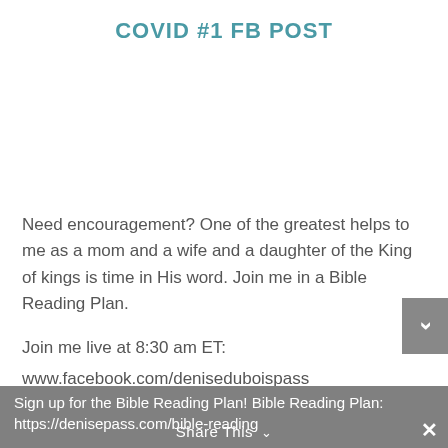COVID #1 FB POST
Need encouragement? One of the greatest helps to me as a mom and a wife and a daughter of the King of kings is time in His word. Join me in a Bible Reading Plan.
Join me live at 8:30 am ET:
www.facebook.com/deniseduboispass
Sign up for the Bible Reading Plan! Bible Reading Plan: https://denisepass.com/bible-reading
Share This